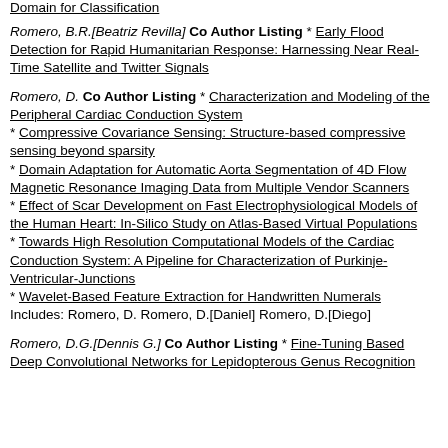Domain for Classification
Romero, B.R.[Beatriz Revilla] Co Author Listing * Early Flood Detection for Rapid Humanitarian Response: Harnessing Near Real-Time Satellite and Twitter Signals
Romero, D. Co Author Listing * Characterization and Modeling of the Peripheral Cardiac Conduction System * Compressive Covariance Sensing: Structure-based compressive sensing beyond sparsity * Domain Adaptation for Automatic Aorta Segmentation of 4D Flow Magnetic Resonance Imaging Data from Multiple Vendor Scanners * Effect of Scar Development on Fast Electrophysiological Models of the Human Heart: In-Silico Study on Atlas-Based Virtual Populations * Towards High Resolution Computational Models of the Cardiac Conduction System: A Pipeline for Characterization of Purkinje-Ventricular-Junctions * Wavelet-Based Feature Extraction for Handwritten Numerals Includes: Romero, D. Romero, D.[Daniel] Romero, D.[Diego]
Romero, D.G.[Dennis G.] Co Author Listing * Fine-Tuning Based Deep Convolutional Networks for Lepidopterous Genus Recognition